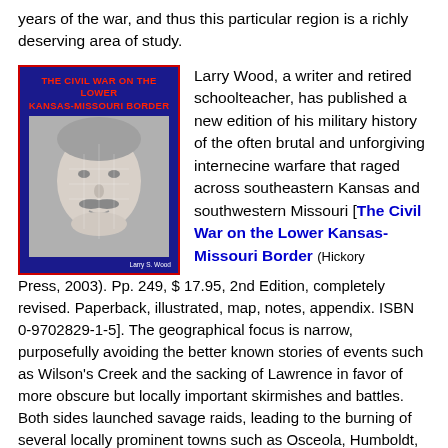years of the war, and thus this particular region is a richly deserving area of study.
[Figure (illustration): Book cover of 'The Civil War on the Lower Kansas-Missouri Border' by Larry S. Wood. Dark blue background with red border, red title text at top, and a black-and-white portrait photograph of a mustachioed man in the center.]
Larry Wood, a writer and retired schoolteacher, has published a new edition of his military history of the often brutal and unforgiving internecine warfare that raged across southeastern Kansas and southwestern Missouri [The Civil War on the Lower Kansas-Missouri Border (Hickory Press, 2003). Pp. 249, $ 17.95, 2nd Edition, completely revised. Paperback, illustrated, map, notes, appendix. ISBN 0-9702829-1-5]. The geographical focus is narrow, purposefully avoiding the better known stories of events such as Wilson's Creek and the sacking of Lawrence in favor of more obscure but locally important skirmishes and battles. Both sides launched savage raids, leading to the burning of several locally prominent towns such as Osceola, Humboldt, Sherwood, and Nevada. Further military actions